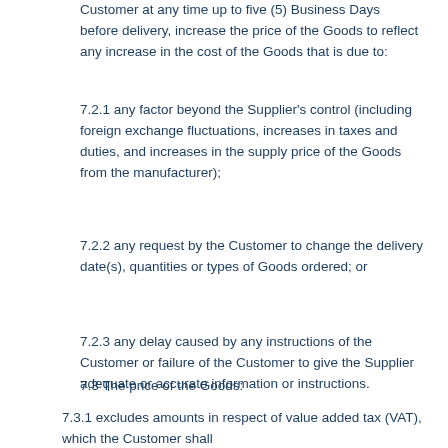Customer at any time up to five (5) Business Days before delivery, increase the price of the Goods to reflect any increase in the cost of the Goods that is due to:
7.2.1 any factor beyond the Supplier's control (including foreign exchange fluctuations, increases in taxes and duties, and increases in the supply price of the Goods from the manufacturer);
7.2.2 any request by the Customer to change the delivery date(s), quantities or types of Goods ordered; or
7.2.3 any delay caused by any instructions of the Customer or failure of the Customer to give the Supplier adequate or accurate information or instructions.
7.3 The price of the Goods:
7.3.1 excludes amounts in respect of value added tax (VAT), which the Customer shall